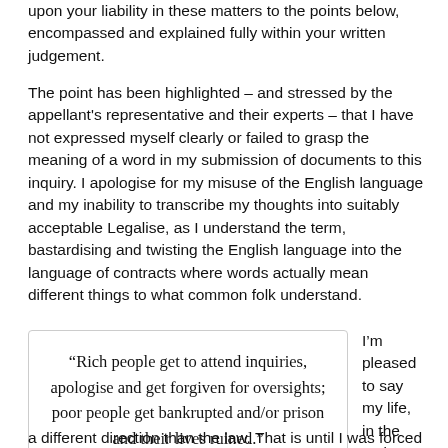upon your liability in these matters to the points below, encompassed and explained fully within your written judgement.
The point has been highlighted – and stressed by the appellant's representative and their experts – that I have not expressed myself clearly or failed to grasp the meaning of a word in my submission of documents to this inquiry. I apologise for my misuse of the English language and my inability to transcribe my thoughts into suitably acceptable Legalise, as I understand the term, bastardising and twisting the English language into the language of contracts where words actually mean different things to what common folk understand.
“Rich people get to attend inquiries, apologise and get forgiven for oversights; poor people get bankrupted and/or prison and their lives ruined.”
I’m pleased to say my life, in the main, has taken me in
a different direction than the law. That is until I was forced to